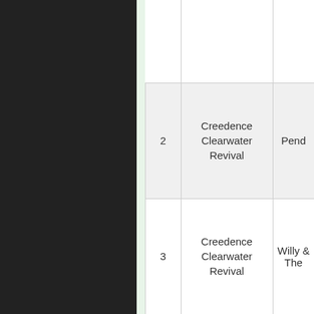| # | Artist | Album |
| --- | --- | --- |
|  |  |  |
| 2 | Creedence Clearwater Revival | Pend... |
| 3 | Creedence Clearwater Revival | Willy & The... |
|  |  |  |